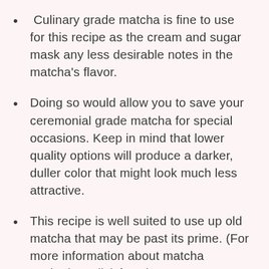Culinary grade matcha is fine to use for this recipe as the cream and sugar mask any less desirable notes in the matcha's flavor.
Doing so would allow you to save your ceremonial grade matcha for special occasions. Keep in mind that lower quality options will produce a darker, duller color that might look much less attractive.
This recipe is well suited to use up old matcha that may be past its prime. (For more information about matcha expiration, click here).
If you are looking for a place to buy